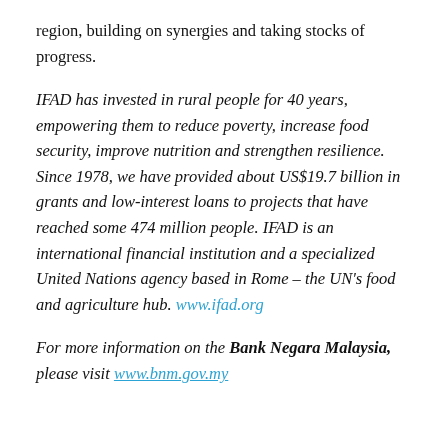region, building on synergies and taking stocks of progress.
IFAD has invested in rural people for 40 years, empowering them to reduce poverty, increase food security, improve nutrition and strengthen resilience. Since 1978, we have provided about US$19.7 billion in grants and low-interest loans to projects that have reached some 474 million people. IFAD is an international financial institution and a specialized United Nations agency based in Rome – the UN's food and agriculture hub. www.ifad.org
For more information on the Bank Negara Malaysia, please visit www.bnm.gov.my